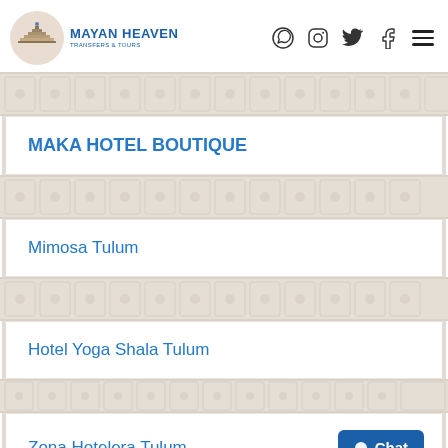Mayan Heaven Transfers & Tours
MAKA HOTEL BOUTIQUE
Mimosa Tulum
Hotel Yoga Shala Tulum
Zona Hotelera Tulum